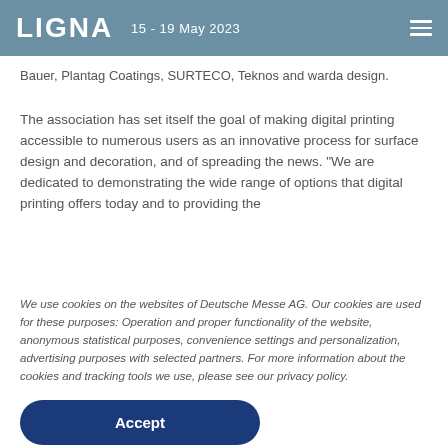LIGNA  15 - 19 May 2023
Bauer, Plantag Coatings, SURTECO, Teknos and warda design.
The association has set itself the goal of making digital printing accessible to numerous users as an innovative process for surface design and decoration, and of spreading the news. "We are dedicated to demonstrating the wide range of options that digital printing offers today and to providing the
We use cookies on the websites of Deutsche Messe AG. Our cookies are used for these purposes: Operation and proper functionality of the website, anonymous statistical purposes, convenience settings and personalization, advertising purposes with selected partners. For more information about the cookies and tracking tools we use, please see our privacy policy.
Accept
Privacy statement
Settings